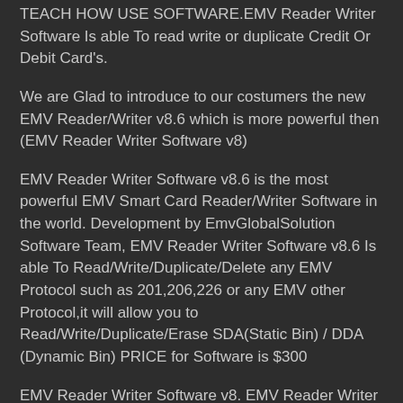TEACH HOW USE SOFTWARE.EMV Reader Writer Software Is able To read write or duplicate Credit Or Debit Card's.
We are Glad to introduce to our costumers the new EMV Reader/Writer v8.6 which is more powerful then (EMV Reader Writer Software v8)
EMV Reader Writer Software v8.6 is the most powerful EMV Smart Card Reader/Writer Software in the world. Development by EmvGlobalSolution Software Team, EMV Reader Writer Software v8.6 Is able To Read/Write/Duplicate/Delete any EMV Protocol such as 201,206,226 or any EMV other Protocol,it will allow you to Read/Write/Duplicate/Erase SDA(Static Bin) / DDA (Dynamic Bin) PRICE for Software is $300
EMV Reader Writer Software v8. EMV Reader Writer Software v8 is a powerful Smart Card Reader Writer Team,EMV Reader Writer Software v8 Is able To read write or duplicate Credit Or Debit Card's,Type Visa,Visa Electron,MasterCard,Maestro,Amex and Discoveri,EMV Reader Writer Software v8 is compatible with Smart Card's Clase ISO/IC 7816 A/B and Jcop 21 36K,EMV Reader